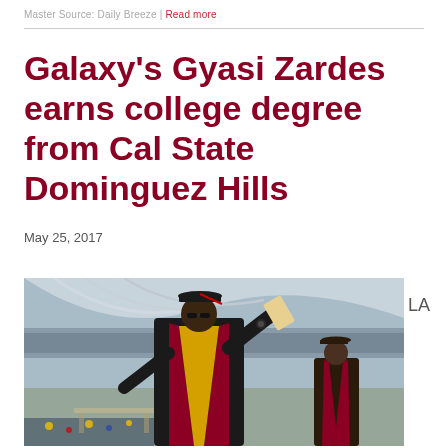Master Source: Daily Breeze | Read more
Galaxy's Gyasi Zardes earns college degree from Cal State Dominguez Hills
May 25, 2017
[Figure (photo): Gyasi Zardes in graduation cap and gown with maroon stole, raising his arm holding a diploma at Cal State Dominguez Hills commencement ceremony in a stadium]
LA